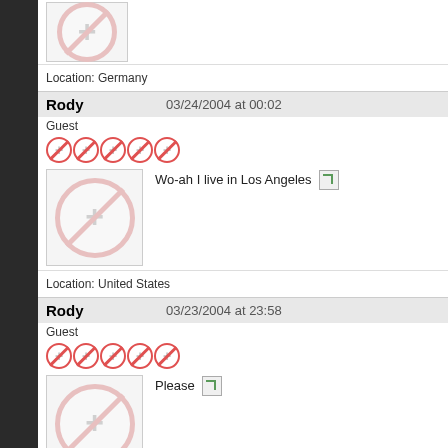[Figure (illustration): No-parking style avatar icon (partial, top of page)]
Location: Germany
Rody
Guest
03/24/2004 at 00:02
Wo-ah I live in Los Angeles
[Figure (illustration): No-parking style avatar icon for Rody]
Location: United States
Rody
Guest
03/23/2004 at 23:58
Please
[Figure (illustration): No-parking style avatar icon for Rody]
Location: United States
pr23se
03/23/2004 at 23:56